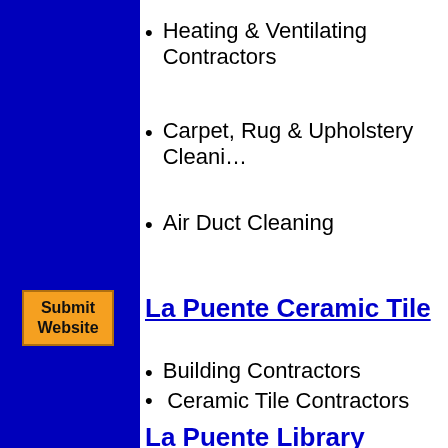Heating & Ventilating Contractors
Carpet, Rug & Upholstery Cleaning
Air Duct Cleaning
La Puente Ceramic Tile
Building Contractors
Ceramic Tile Contractors
La Puente Library